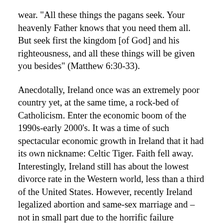wear. "All these things the pagans seek. Your heavenly Father knows that you need them all. But seek first the kingdom [of God] and his righteousness, and all these things will be given you besides" (Matthew 6:30-33).
Anecdotally, Ireland once was an extremely poor country yet, at the same time, a rock-bed of Catholicism. Enter the economic boom of the 1990s-early 2000's. It was a time of such spectacular economic growth in Ireland that it had its own nickname: Celtic Tiger. Faith fell away. Interestingly, Ireland still has about the lowest divorce rate in the Western world, less than a third of the United States. However, recently Ireland legalized abortion and same-sex marriage and – not in small part due to the horrific failure amongst bishops and the abuse scandal – faith has decreased significantly. Similarly, from the first time I went on